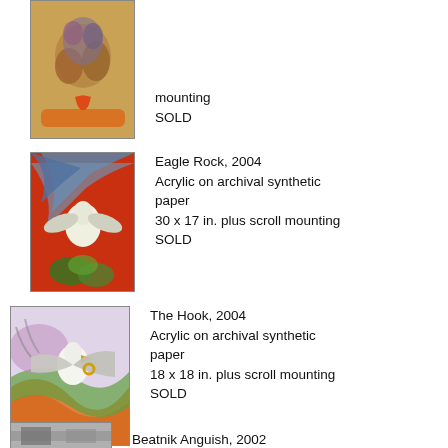[Figure (illustration): Painting of figures on horseback or similar, on yellow/gold background — partially visible at top of page]
mounting
SOLD
[Figure (illustration): Eagle Rock, 2004 — painting of a white eagle or bird with blue feathers on red/orange background with green foliage]
Eagle Rock, 2004
Acrylic on archival synthetic paper
30 x 17 in. plus scroll mounting
SOLD
[Figure (illustration): The Hook, 2004 — painting of a bald eagle with outstretched wings over waves, orange/purple/green colors]
The Hook, 2004
Acrylic on archival synthetic paper
18 x 18 in. plus scroll mounting
SOLD
[Figure (photo): Beatnik Anguish, 2002 — partially visible at bottom of page]
Beatnik Anguish, 2002